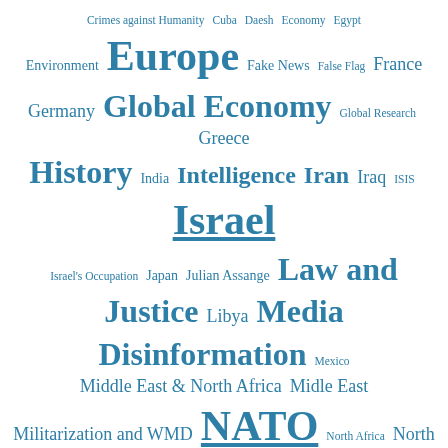[Figure (other): Tag cloud of geopolitical and news topics in varying font sizes, all in blue/teal color on white background. Topics include: Crimes against Humanity, Cuba, Daesh, Economy, Egypt, Environment, Europe, Fake News, False Flag, France, Germany, Global Economy, Global Research, Greece, History, India, Intelligence, Iran, Iraq, ISIS, Israel, Israel's Occupation, Japan, Julian Assange, Law and Justice, Libya, Media Disinformation, Mexico, Middle East & North Africa, Midle East, Militarization and WMD, NATO, North Africa, North Korea, Nuclear War, Oil and Energy, Opinion, Pakistan, Palestine, Paul Craig Roberts, Police State, Police State & Civil Rights, Poverty & Social Inequality, Regime Change, Rusophobia, Russia, Saudi Arabia, Science and Medicine, Selected Articles, sub-Saharan Africa, Syria, Terrorism, Turkey, U.K., U.S., USA]